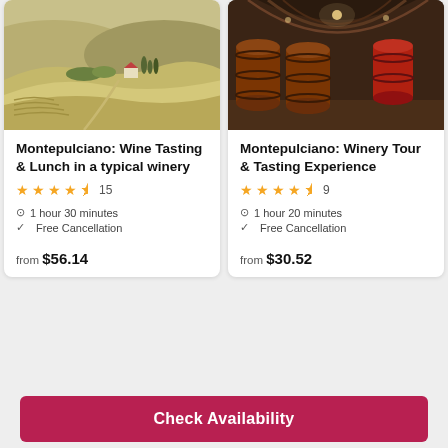[Figure (photo): Aerial view of rolling Tuscan hills with farmhouse and cypress trees]
Montepulciano: Wine Tasting & Lunch in a typical winery
★★★★½ 15
1 hour 30 minutes
Free Cancellation
from $56.14
[Figure (photo): Wine barrels in a winery cellar tunnel with stone arches]
Montepulciano: Winery Tour & Tasting Experience
★★★★½ 9
1 hour 20 minutes
Free Cancellation
from $30.52
Check Availability